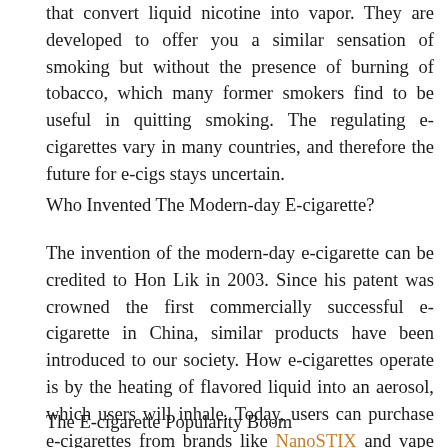that convert liquid nicotine into vapor. They are developed to offer you a similar sensation of smoking but without the presence of burning of tobacco, which many former smokers find to be useful in quitting smoking. The regulating e-cigarettes vary in many countries, and therefore the future for e-cigs stays uncertain.
Who Invented The Modern-day E-cigarette?
The invention of the modern-day e-cigarette can be credited to Hon Lik in 2003. Since his patent was crowned the first commercially successful e-cigarette in China, similar products have been introduced to our society. How e-cigarettes operate is by the heating of flavored liquid into an aerosol, which users will inhale. Today, users can purchase e-cigarettes from brands like NanoSTIX and vape stores.
The E-cigarette Popularity Boom